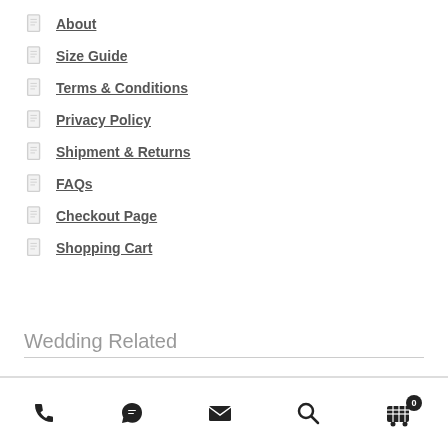About
Size Guide
Terms & Conditions
Privacy Policy
Shipment & Returns
FAQs
Checkout Page
Shopping Cart
Wedding Related
[Figure (other): Bottom navigation bar with icons: phone, WhatsApp/chat, email, search, and shopping cart with badge showing 0]